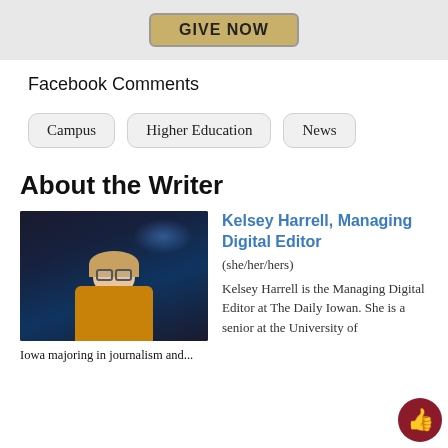[Figure (other): Gold 'GIVE NOW' button on gray background banner]
Facebook Comments
Campus
Higher Education
News
About the Writer
[Figure (photo): Photo of Kelsey Harrell, a young woman with glasses and blonde hair wearing a mustard yellow top, smiling in front of a dark background]
Iowa majoring in journalism and...
Kelsey Harrell, Managing Digital Editor
(she/her/hers)
Kelsey Harrell is the Managing Digital Editor at The Daily Iowan. She is a senior at the University of Iowa majoring in journalism and...